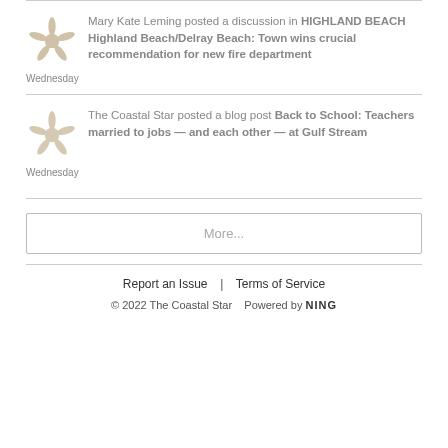Mary Kate Leming posted a discussion in HIGHLAND BEACH Highland Beach/Delray Beach: Town wins crucial recommendation for new fire department
Wednesday
The Coastal Star posted a blog post Back to School: Teachers married to jobs — and each other — at Gulf Stream
Wednesday
More...
Report an Issue  |  Terms of Service
© 2022 The Coastal Star   Powered by NING